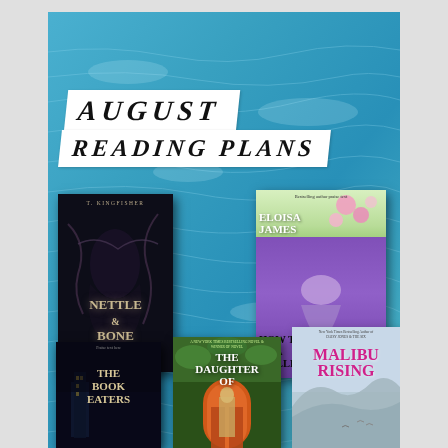[Figure (illustration): August Reading Plans graphic. A blue swimming pool water background with book covers overlaid. Bold italic text reads 'AUGUST' and 'READING PLANS' on white banner strips. Five book covers are shown: 'Nettle & Bone' by T. Kingfisher, 'How to Be a Wallflower' by Eloisa James, 'The Book Eaters', 'The Daughter of...', and 'Malibu Rising'.]